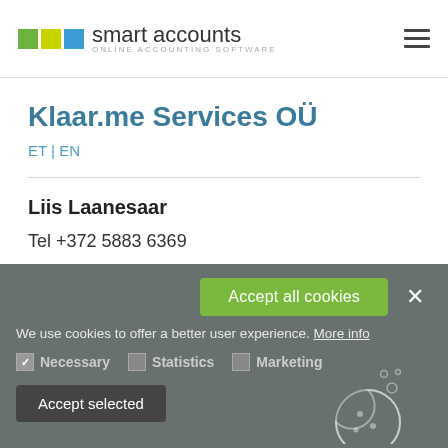[Figure (logo): Smart Accounts logo with green, yellow and blue squares and text 'smart accounts ONLINE ACCOUNTING SOFTWARE']
Klaar.me Services OÜ
ET | EN
Liis Laanesaar
Tel +372 5883 6369
We use cookies to offer a better user experience. More info
Necessary   Statistics   Marketing
Accept selected